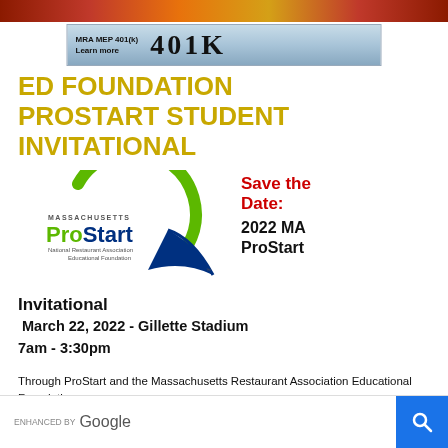[Figure (photo): Top decorative food/ingredient image strip in orange-red tones]
[Figure (screenshot): MRA MEP 401(k) Learn more banner with large 401K text]
ED FOUNDATION PROSTART STUDENT INVITATIONAL
[Figure (logo): Massachusetts ProStart - National Restaurant Association Educational Foundation logo with green circle and blue swoosh]
Save the Date: 2022 MA ProStart Invitational
March 22, 2022 - Gillette Stadium
7am - 3:30pm
Through ProStart and the Massachusetts Restaurant Association Educational Foundation ...rship and the MRAEFE sponsors a ProStart Invitational
[Figure (screenshot): Enhanced by Google search bar with blue search button]